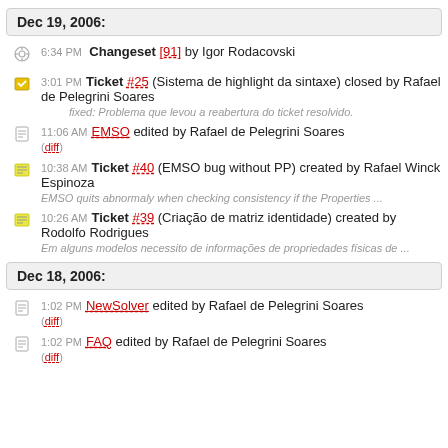Dec 19, 2006:
6:34 PM Changeset [91] by Igor Rodacovski
3:01 PM Ticket #25 (Sistema de highlight da sintaxe) closed by Rafael de Pelegrini Soares
fixed: Problema que levou a reabertura do ticket resolvido.
11:06 AM EMSO edited by Rafael de Pelegrini Soares
(diff)
10:38 AM Ticket #40 (EMSO bug without PP) created by Rafael Winck Espinoza
EMSO quits abnormaly when checking consistency if the Properties ...
10:26 AM Ticket #39 (Criação de matriz identidade) created by Rodolfo Rodrigues
Em alguns modelos necessito de informações de propriedades físicas de ...
Dec 18, 2006:
1:02 PM NewSolver edited by Rafael de Pelegrini Soares
(diff)
1:02 PM FAQ edited by Rafael de Pelegrini Soares
(diff)